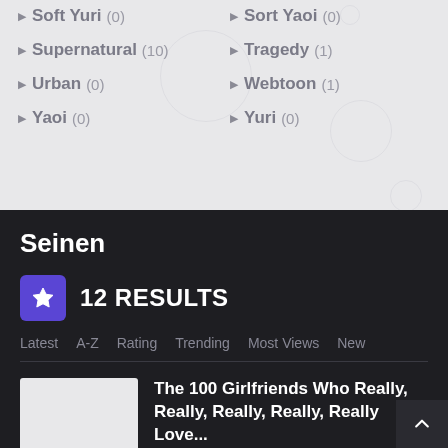Soft Yuri (0)
Sort Yaoi (0)
Supernatural (10)
Tragedy (1)
Urban (0)
Webtoon (1)
Yaoi (0)
Yuri (0)
Seinen
12 RESULTS
Latest  A-Z  Rating  Trending  Most Views  New
The 100 Girlfriends Who Really, Really, Really, Really, Really Love...